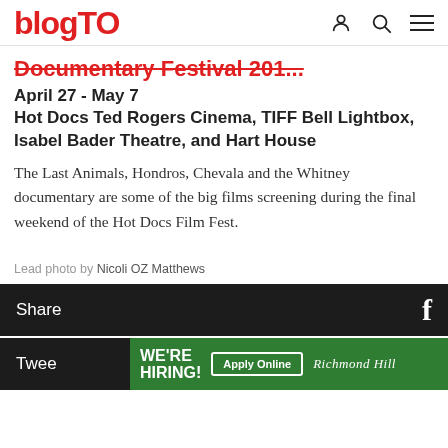blogTO
Documentary Festival 201...
April 27 - May 7
Hot Docs Ted Rogers Cinema, TIFF Bell Lightbox, Isabel Bader Theatre, and Hart House
The Last Animals, Hondros, Chevala and the Whitney documentary are some of the big films screening during the final weekend of the Hot Docs Film Fest.
Lead photo by Nicoli OZ Matthews
Share
Tweet